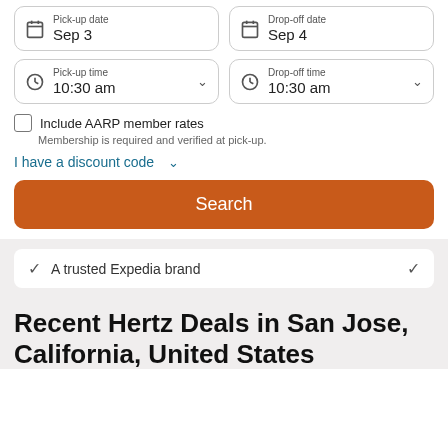[Figure (screenshot): Pick-up date field showing Sep 3 with calendar icon]
[Figure (screenshot): Drop-off date field showing Sep 4 with calendar icon]
[Figure (screenshot): Pick-up time dropdown showing 10:30 am with clock icon]
[Figure (screenshot): Drop-off time dropdown showing 10:30 am with clock icon]
Include AARP member rates
Membership is required and verified at pick-up.
I have a discount code
Search
A trusted Expedia brand
Recent Hertz Deals in San Jose, California, United States